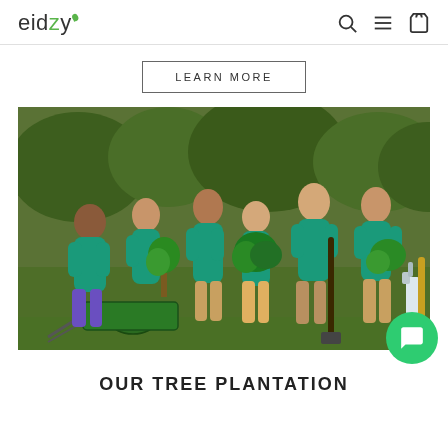eidzy
LEARN MORE
[Figure (photo): Group of six young volunteers in teal/turquoise t-shirts holding plants, tree seedlings, and gardening tools (shovel, wheelbarrow, spray bottle) outdoors on grass with green bushes in background. Tree plantation volunteering photo.]
OUR TREE PLANTATION